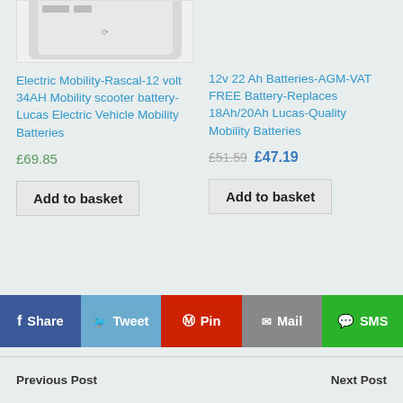[Figure (photo): White mobility scooter battery product image, partially cropped at top]
Electric Mobility-Rascal-12 volt 34AH Mobility scooter battery-Lucas Electric Vehicle Mobility Batteries
12v 22 Ah Batteries-AGM-VAT FREE Battery-Replaces 18Ah/20Ah Lucas-Quality Mobility Batteries
£69.85
£51.59  £47.19
Add to basket
Add to basket
f Share
𝕏 Tweet
⊕ Pin
✉ Mail
💬 SMS
Previous Post
Next Post